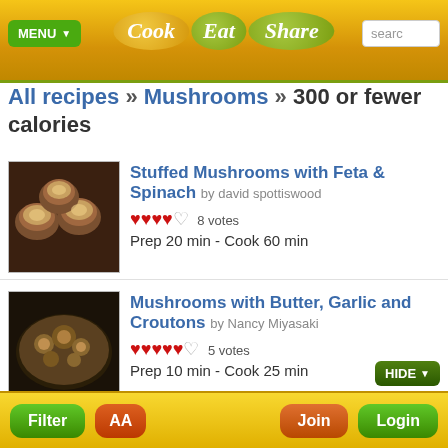Cook Eat Share | MENU | search
All recipes » Mushrooms » 300 or fewer calories
[Figure (photo): Stuffed mushrooms on baking tray]
Stuffed Mushrooms with Feta & Spinach by david spottiswood
♥♥♥♥♡ 8 votes
Prep 20 min - Cook 60 min
[Figure (photo): Mushrooms with butter, garlic and croutons in bowl]
Mushrooms with Butter, Garlic and Croutons by Nancy Miyasaki
♥♥♥♥♥♡ 5 votes
Prep 10 min - Cook 25 min
[Figure (photo): Creamy mushroom soup in bowl]
Creamy Multiple Mushroom Soup by Homemade & Yummy
3 votes
Filter | AA | Join | Login | HIDE